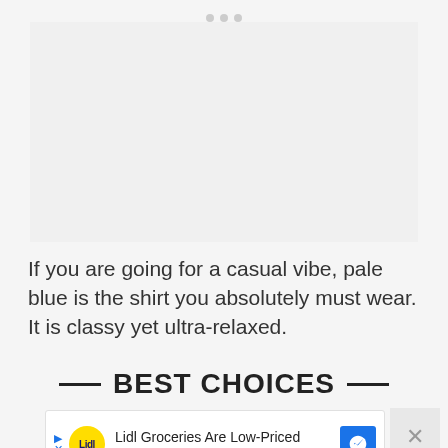[Figure (photo): Image placeholder area showing a clothing/shirt photo (content not visible in this crop)]
If you are going for a casual vibe, pale blue is the shirt you absolutely must wear. It is classy yet ultra-relaxed.
BEST CHOICES
[Figure (screenshot): Advertisement banner: Lidl Groceries Are Low-Priced — Lidl brand ad with logo and navigation icon]